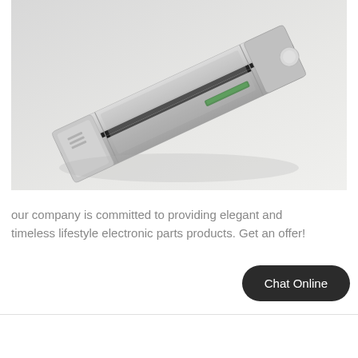[Figure (photo): A silver/grey electronic component or device part (appears to be a toner cartridge or printer part) photographed at an angle on a light grey background. The part has metallic grey plastic casing with black accents and a small green indicator strip.]
our company is committed to providing elegant and timeless lifestyle electronic parts products. Get an offer!
Chat Online